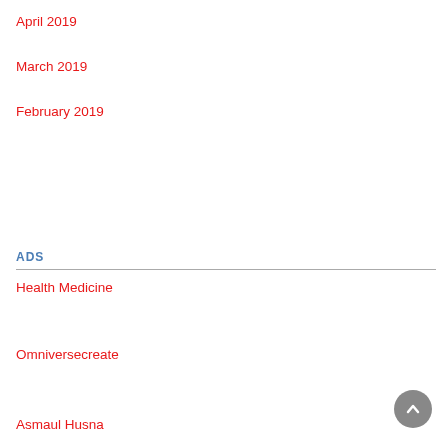April 2019
March 2019
February 2019
ADS
Health Medicine
Omniversecreate
Asmaul Husna